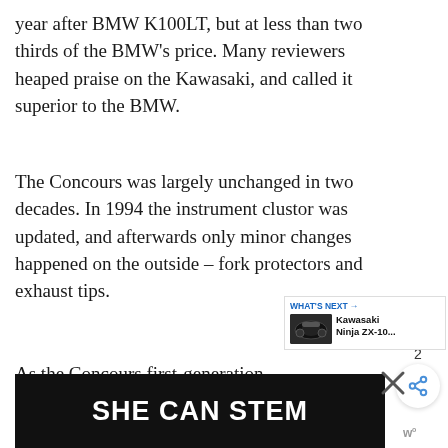year after BMW K100LT, but at less than two thirds of the BMW's price. Many reviewers heaped praise on the Kawasaki, and called it superior to the BMW.
The Concours was largely unchanged in two decades. In 1994 the instrument clustor was updated, and afterwards only minor changes happened on the outside – fork protectors and exhaust tips.
As the Concours first-generation endured with few revisions, experienced mechanics and t are readily available.
[Figure (screenshot): UI overlay with heart/like button (blue circle), count '2', and share button]
[Figure (screenshot): WHAT'S NEXT panel with Kawasaki Ninja ZX-10... thumbnail and text]
[Figure (screenshot): Advertisement banner reading SHE CAN STEM on dark background with close X and WP logo]